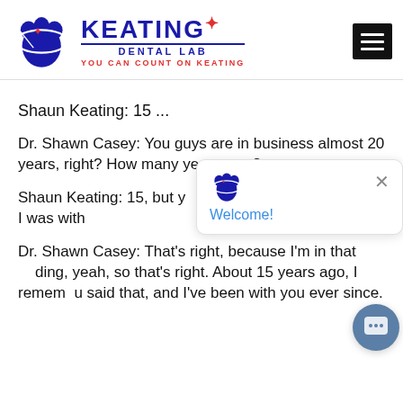[Figure (logo): Keating Dental Lab logo with tooth icon, brand name KEATING DENTAL LAB, tagline YOU CAN COUNT ON KEATING]
Shaun Keating: 15 ...
Dr. Shawn Casey: You guys are in business almost 20 years, right? How many years now?
Shaun Keating: 15, but y [obscured by popup] nan that, because I was with [obscured] ...
Dr. Shawn Casey: That's right, because I'm in that [obscured] ding, yeah, so that's right. About 15 years ago, I remem u said that, and I've been with you ever since.
[Figure (screenshot): Chat popup with Welcome! message and tooth icon, plus chat button in lower right corner]